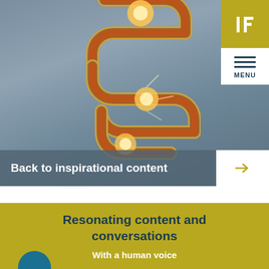[Figure (illustration): Hero image with a stylized DNA/lightning bolt graphic in orange-red on a blue-grey background]
Back to inspirational content
[Figure (logo): IF logo in white on gold/olive background in top right corner, with MENU hamburger icon below]
Resonating content and conversations
With a human voice